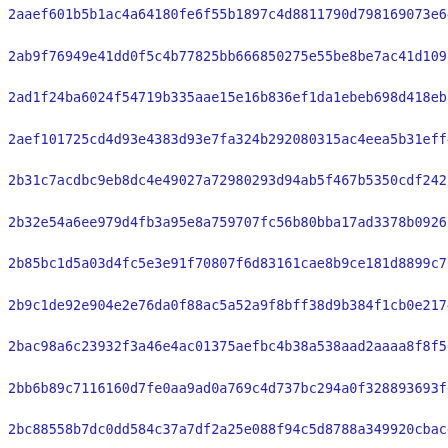2aaef601b5b1ac4a64180fe6f55b1897c4d8811790d798169073e64851ce1
2ab9f76949e41dd0f5c4b77825bb666850275e55be8be7ac41d1091ffe398
2ad1f24ba6024f54719b335aae15e16b836ef1da1ebeb698d418ebc0f3d4e
2aef101725cd4d93e4383d93e7fa324b292080315ac4eea5b31eff4a45803
2b31c7acdbc9eb8dc4e49027a72980293d94ab5f467b5350cdf242bece733
2b32e54a6ee979d4fb3a95e8a759707fc56b80bba17ad3378b092612ae505
2b85bc1d5a03d4fc5e3e91f70807f6d83161cae8b9ce181d8899c76e14925
2b9c1de92e904e2e76da0f88ac5a52a9f8bff38d9b384f1cb0e2174b52ad1
2bac98a6c23932f3a46e4ac01375aefbc4b38a538aad2aaaa8f8f5d337d1b
2bb6b89c7116160d7fe0aa9ad0a769c4d737bc294a0f328893693fdf03a41
2bc88558b7dc0dd584c37a7df2a25e088f94c5d8788a349920cbacd713448